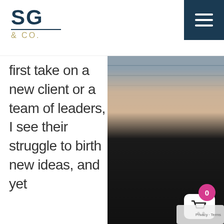[Figure (logo): SG & CO. logo — large bold 'SG' in dark navy with '& CO.' below in gold/tan, separated by a horizontal rule]
[Figure (illustration): Dark navy hamburger menu icon (three horizontal white lines) on dark navy square background, top-right corner]
first take on a new client or a team of leaders, I see their struggle to birth new ideas, and yet
[Figure (photo): Professional headshot of a smiling blonde woman wearing a black turtleneck sweater, seated in front of grey horizontal siding with a white bench/chair visible]